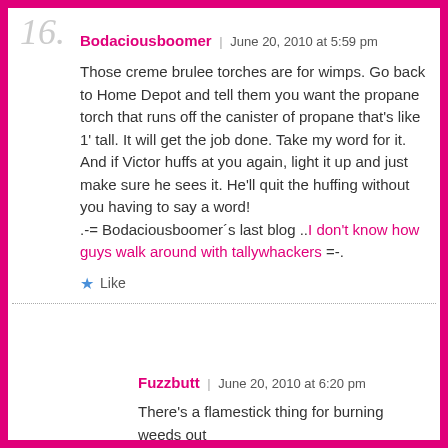16.
Bodaciousboomer | June 20, 2010 at 5:59 pm
Those creme brulee torches are for wimps. Go back to Home Depot and tell them you want the propane torch that runs off the canister of propane that's like 1' tall. It will get the job done. Take my word for it. And if Victor huffs at you again, light it up and just make sure he sees it. He'll quit the huffing without you having to say a word!
.-= Bodaciousboomer´s last blog ..I don't know how guys walk around with tallywhackers =-.
Like
17.
Fuzzbutt | June 20, 2010 at 6:20 pm
There's a flamestick thing for burning weeds out